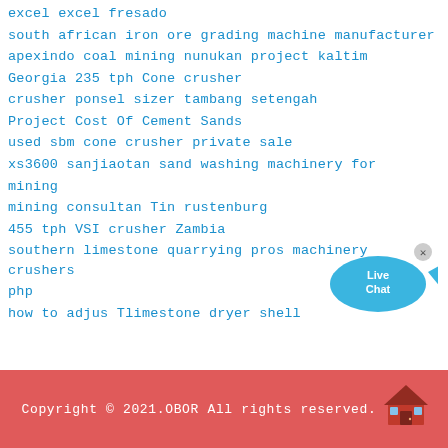excel excel fresado
south african iron ore grading machine manufacturer
apexindo coal mining nunukan project kaltim
Georgia 235 tph Cone crusher
crusher ponsel sizer tambang setengah
Project Cost Of Cement Sands
used sbm cone crusher private sale
xs3600 sanjiaotan sand washing machinery for mining
mining consultan Tin rustenburg
455 tph VSI crusher Zambia
southern limestone quarrying pros machinery crushers php
how to adjus Tlimestone dryer shell
[Figure (illustration): Live Chat widget with blue speech bubble, fish shape, and 'x' close button. Text reads 'Live Chat' in white on blue background.]
Copyright © 2021.OBOR All rights reserved.